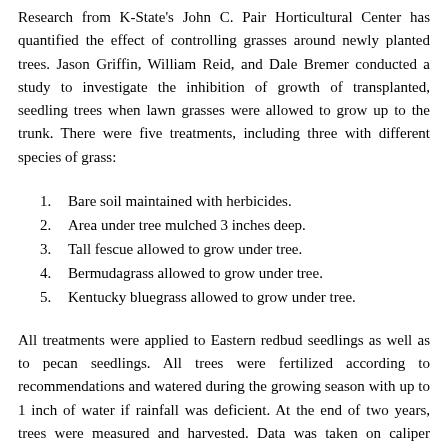Research from K-State's John C. Pair Horticultural Center has quantified the effect of controlling grasses around newly planted trees. Jason Griffin, William Reid, and Dale Bremer conducted a study to investigate the inhibition of growth of transplanted, seedling trees when lawn grasses were allowed to grow up to the trunk. There were five treatments, including three with different species of grass:
1. Bare soil maintained with herbicides.
2. Area under tree mulched 3 inches deep.
3. Tall fescue allowed to grow under tree.
4. Bermudagrass allowed to grow under tree.
5. Kentucky bluegrass allowed to grow under tree.
All treatments were applied to Eastern redbud seedlings as well as to pecan seedlings. All trees were fertilized according to recommendations and watered during the growing season with up to 1 inch of water if rainfall was deficient. At the end of two years, trees were measured and harvested. Data was taken on caliper (diameter) 6 inches above the ground, weight of aboveground portions of the tree, leaf area, and leaf weight. There were no differences in any measure between the mulched treatment and the bare soil treatment